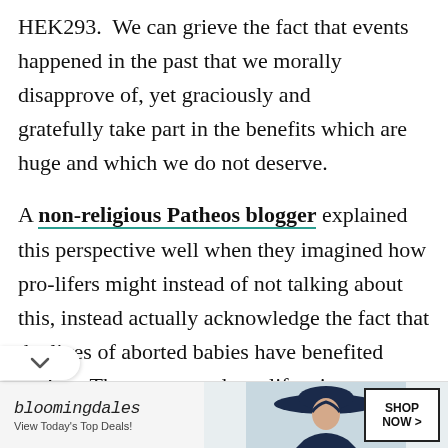HEK293.  We can grieve the fact that events happened in the past that we morally disapprove of, yet graciously and gratefully take part in the benefits which are huge and which we do not deserve.

A non-religious Patheos blogger explained this perspective well when they imagined how pro-lifers might instead of not talking about this, instead actually acknowledge the fact that the lives of aborted babies have benefited society. They suggested pro-lifers it as a trigger to campaign not for more
[Figure (screenshot): Bloomingdale's advertisement banner with logo, tagline 'View Today's Top Deals!', image of woman in wide-brim hat, and 'SHOP NOW >' button]